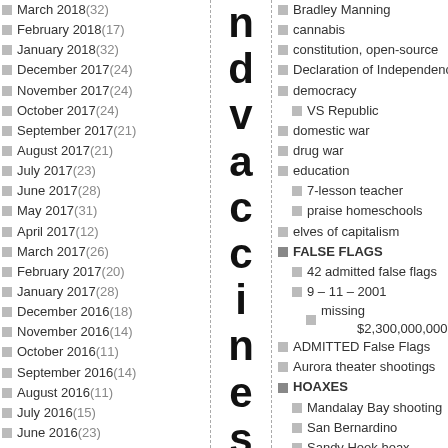March 2018 (32)
February 2018 (17)
January 2018 (32)
December 2017 (24)
November 2017 (24)
October 2017 (24)
September 2017 (21)
August 2017 (21)
July 2017 (23)
June 2017 (28)
May 2017 (31)
April 2017 (12)
March 2017 (26)
February 2017 (20)
January 2017 (28)
December 2016 (18)
November 2016 (14)
October 2016 (11)
September 2016 (14)
August 2016 (11)
July 2016 (15)
June 2016 (23)
May 2016 (11)
April 2016 (19)
March 2016 (32)
February 2016 (30)
January 2016 (25)
ndvaccines by
Bradley Manning
cannabis
constitution, open-source
Declaration of Independence
democracy
VS Republic
domestic war
drug war
education
7-lesson teacher
praise homeschools
elves of capitalism
FALSE FLAGS
42 admitted false flags
9 – 11 – 2001
missing $2,300,000,000,000
ADMITTED False Flags
Aurora theater shootings
HOAXES
Mandalay Bay shooting
San Bernardino
Sandy Hook hoax
Sandy Hook Redux
mass shooting videos
feral reserve
flag of liberty